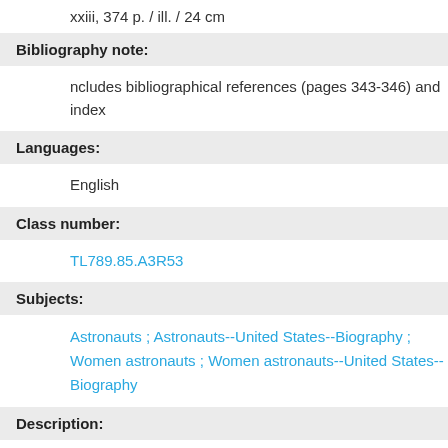xxiii, 374 p. / ill. / 24 cm
Bibliography note:
ncludes bibliographical references (pages 343-346) and index
Languages:
English
Class number:
TL789.85.A3R53
Subjects:
Astronauts ; Astronauts--United States--Biography ; Women astronauts ; Women astronauts--United States--Biography
Description:
The definitive biography of Sally Ride, America's first woman in space, with exclusive insights from Ride's family and partner, by the ABC reporter who covered